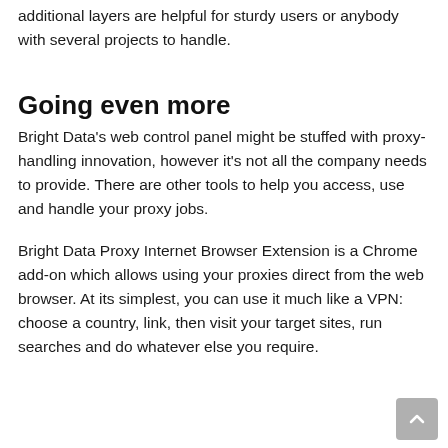additional layers are helpful for sturdy users or anybody with several projects to handle.
Going even more
Bright Data's web control panel might be stuffed with proxy-handling innovation, however it's not all the company needs to provide. There are other tools to help you access, use and handle your proxy jobs.
Bright Data Proxy Internet Browser Extension is a Chrome add-on which allows using your proxies direct from the web browser. At its simplest, you can use it much like a VPN: choose a country, link, then visit your target sites, run searches and do whatever else you require.